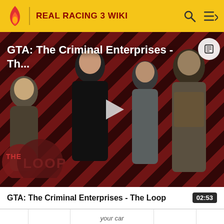REAL RACING 3 WIKI
[Figure (screenshot): Video thumbnail showing GTA: The Criminal Enterprises - The Loop with characters on a red diagonal striped background and a play button in the center. 'THE LOOP' logo appears in bottom left.]
GTA: The Criminal Enterprises - Th...
GTA: The Criminal Enterprises - The Loop
02:53
your car
[Figure (illustration): Pink/magenta double quotation mark logo for The Loop]